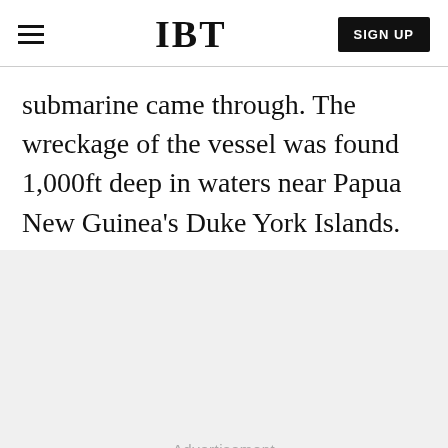IBT
submarine came through. The wreckage of the vessel was found 1,000ft deep in waters near Papua New Guinea's Duke York Islands.
[Figure (other): Advertisement placeholder area with light gray background and 'Advertisement' label text]